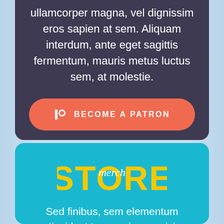ullamcorper magna, vel dignissim eros sapien at sem. Aliquam interdum, ante eget sagittis fermentum, mauris metus luctus sem, at molestie.
[Figure (other): Orange rounded button with Patreon logo icon and text BECOME A PATRON in white uppercase letters]
[Figure (logo): Merch Store logo: large yellow bold text STORE with white cursive script 'merch' overlaid in the middle]
Sed finibus, sem elementum tincidunt tempor, ipsum nisi ullamcorper magna, vel dignissim eros sapien.